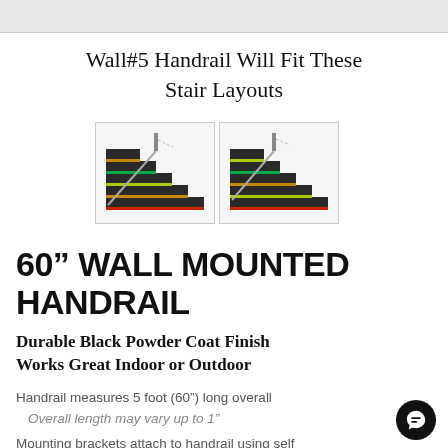Wall#5 Handrail Will Fit These Stair Layouts
[Figure (illustration): Two 3D rendered illustrations of stair layouts showing wall-mounted handrail configurations. Left image shows a handrail mounted on one side of stairs. Right image shows an alternative stair layout with handrail.]
60” WALL MOUNTED HANDRAIL
Durable Black Powder Coat Finish Works Great Indoor or Outdoor
Handrail measures 5 foot (60”) long overall
Overall length may vary up to 1”
Mounting brackets attach to handrail using self